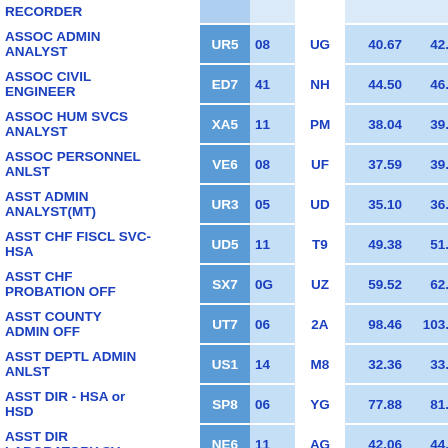| Job Title | Code | Num | Alpha | Rate1 | Rate2 | Rate3 |
| --- | --- | --- | --- | --- | --- | --- |
| RECORDER |  |  |  |  |  |  |
| ASSOC ADMIN ANALYST | UR5 | 08 | UG | 40.67 | 42.69 | 44.8 |
| ASSOC CIVIL ENGINEER | ED7 | 41 | NH | 44.50 | 46.32 | 48.1 |
| ASSOC HUM SVCS ANALYST | XA5 | 11 | PM | 38.04 | 39.93 | 41.8 |
| ASSOC PERSONNEL ANLST | VE6 | 08 | UF | 37.59 | 39.48 | 41.4 |
| ASST ADMIN ANALYST(MT) | UR3 | 05 | UD | 35.10 | 36.83 | 38.6 |
| ASST CHF FISCL SVC-HSA | UD5 | 11 | T9 | 49.38 | 51.80 | 54.3 |
| ASST CHF PROBATION OFF | SX7 | 0G | UZ | 59.52 | 62.42 | 65.6 |
| ASST COUNTY ADMIN OFF | UT7 | 06 | 2A | 98.46 | 103.38 | 108. |
| ASST DEPTL ADMIN ANLST | US1 | 14 | M8 | 32.36 | 33.93 | 35.5 |
| ASST DIR - HSA or HSD | SP8 | 06 | YG | 77.88 | 81.79 | 85.9 |
| ASST DIR LABORATORY SV | NE6 | 11 | AG | 42.06 | 44.14 | 46.3 |